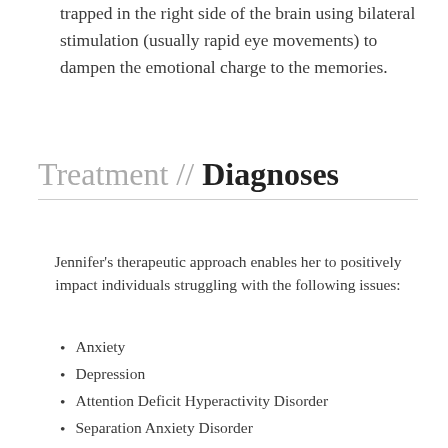trapped in the right side of the brain using bilateral stimulation (usually rapid eye movements) to dampen the emotional charge to the memories.
Treatment // Diagnoses
Jennifer's therapeutic approach enables her to positively impact individuals struggling with the following issues:
Anxiety
Depression
Attention Deficit Hyperactivity Disorder
Separation Anxiety Disorder